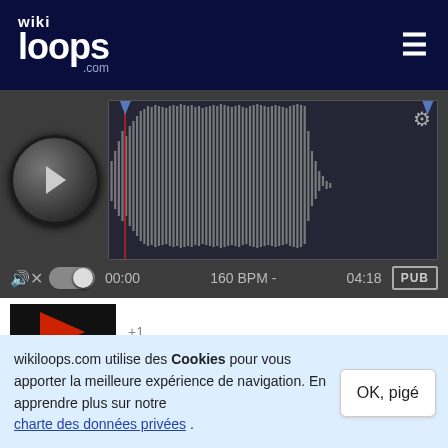[Figure (logo): wikiloops.com logo - white text on dark navy background]
[Figure (screenshot): Audio waveform player with play button, waveform display, time 00:00, 160 BPM, duration 04:18, mute icon, toggle switch, PUB badge, settings gear icon, red flag icon]
[Figure (photo): Small dark thumbnail image with red shape]
+1
il-y a 6 ans
[Figure (photo): Profile photo of bald man]
Pewi
I am glad that you like the way I play ☺
wikiloops.com utilise des Cookies pour vous apporter la meilleure expérience de navigation. En apprendre plus sur notre charte des données privées .